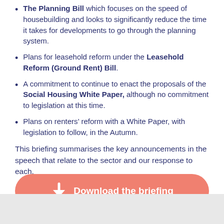The Planning Bill which focuses on the speed of housebuilding and looks to significantly reduce the time it takes for developments to go through the planning system.
Plans for leasehold reform under the Leasehold Reform (Ground Rent) Bill.
A commitment to continue to enact the proposals of the Social Housing White Paper, although no commitment to legislation at this time.
Plans on renters’ reform with a White Paper, with legislation to follow, in the Autumn.
This briefing summarises the key announcements in the speech that relate to the sector and our response to each.
[Figure (other): Orange/salmon rounded rectangle button with download arrow icon and text 'Download the briefing' in white]